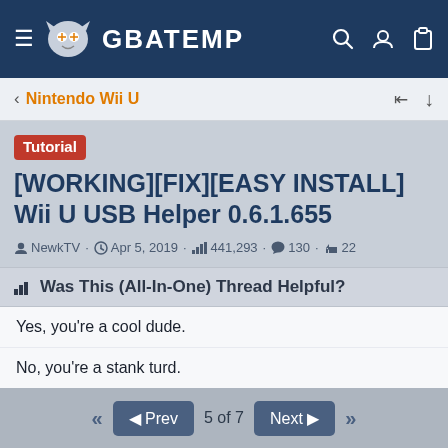GBAtemp
Nintendo Wii U
[WORKING][FIX][EASY INSTALL] Wii U USB Helper 0.6.1.655
NewkTV · Apr 5, 2019 · 441,293 · 130 · 22
Was This (All-In-One) Thread Helpful?
Yes, you're a cool dude.
No, you're a stank turd.
Does't matter! Sticky this post!
Results are only viewable after voting.
<< Prev 5 of 7 Next >>